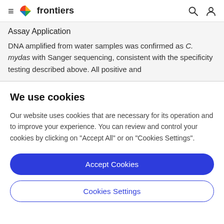frontiers
Assay Application
DNA amplified from water samples was confirmed as C. mydas with Sanger sequencing, consistent with the specificity testing described above. All positive and
We use cookies
Our website uses cookies that are necessary for its operation and to improve your experience. You can review and control your cookies by clicking on "Accept All" or on "Cookies Settings".
Accept Cookies
Cookies Settings